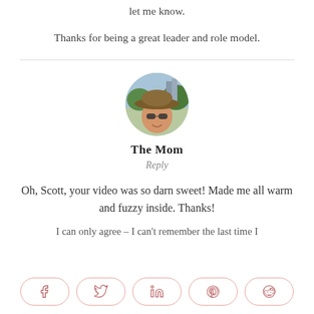let me know.
Thanks for being a great leader and role model.
[Figure (photo): Circular avatar photo of a person wearing a wide-brimmed straw hat and sunglasses, with green trees and buildings in background]
The Mom
Reply
Oh, Scott, your video was so darn sweet! Made me all warm and fuzzy inside. Thanks!
I can only agree – I can't remember the last time I
[Figure (infographic): Social share buttons: Facebook, Twitter, LinkedIn, Pinterest, Reddit]